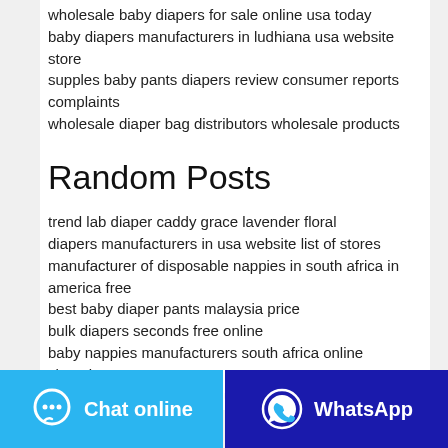wholesale baby diapers for sale online usa today
baby diapers manufacturers in ludhiana usa website store
supples baby pants diapers review consumer reports complaints
wholesale diaper bag distributors wholesale products
Random Posts
trend lab diaper caddy grace lavender floral
diapers manufacturers in usa website list of stores
manufacturer of disposable nappies in south africa in america free
best baby diaper pants malaysia price
bulk diapers seconds free online
baby nappies manufacturers south africa online shopping stores
diaper material supplier in usa in philippines online